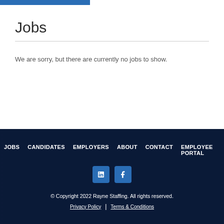Jobs
We are sorry, but there are currently no jobs to show.
Jobs  Candidates  Employers  About  Contact  Employee Portal
© Copyright 2022 Rayne Staffing. All rights reserved.
Privacy Policy  |  Terms & Conditions